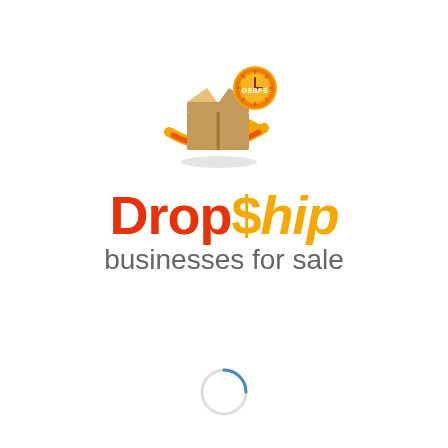[Figure (logo): DropShip Businesses for Sale logo icon: cardboard boxes with an orange arrow swoosh beneath and a circular orange clock badge with 'DSBFS' text]
Drop$hip businesses for sale